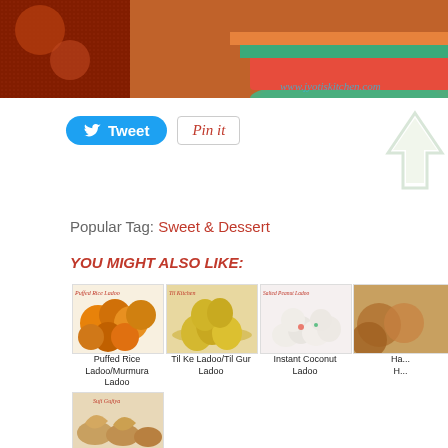[Figure (photo): Top portion of food blog page showing colorful bowls with spices, watermarked www.jyotiskitchen.com]
[Figure (other): Twitter Tweet button (blue rounded) and Pinterest Pin It button]
Popular Tag: Sweet & Dessert
YOU MIGHT ALSO LIKE:
[Figure (photo): Puffed Rice Ladoo/Murmura Ladoo - orange puffed rice balls on a plate, labeled 'Puffed Rice Ladoo']
Puffed Rice Ladoo/Murmura Ladoo
[Figure (photo): Til Ke Ladoo/Til Gur Ladoo - golden sesame balls stacked on a plate]
Til Ke Ladoo/Til Gur Ladoo
[Figure (photo): Instant Coconut Ladoo - white coconut balls on a plate with green and red decoration]
Instant Coconut Ladoo
[Figure (photo): Partially visible fourth item Ha... H...]
[Figure (photo): Bottom partial card showing fried pastry/gujiya items labeled Suji Gujiya]